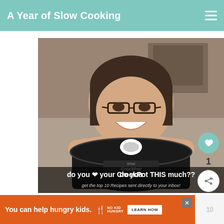A Year of Slow Cooking
[Figure (photo): Woman smiling and resting chin on CrockPot slow cooker lid, with overlay text 'do you love your CrockPot THIS much??' and 'get the top 10 Recipes sent directly to your inbox!']
Subscribe to A Year of Slow Cooking!
[Figure (photo): What's Next thumbnail showing Pioneer Dinner Slow... with food image]
You can help hungry kids. NO KID HUNGRY LEARN HOW